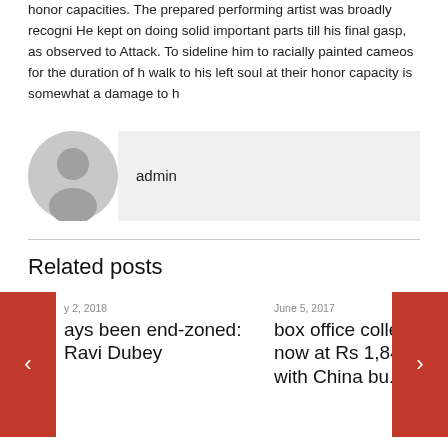honor capacities. The prepared performing artist was broadly recognized. He kept on doing solid important parts till his final gasp, as observed to Attack. To sideline him to racially painted cameos for the duration of h walk to his left soul at their honor capacity is somewhat a damage to h
[Figure (illustration): Avatar icon - circular gray silhouette of a person]
admin
Related posts
y 2, 2018 ays been end-zoned: Ravi Dubey
June 5, 2017 box office collection now at Rs 1,848 crore, with China business